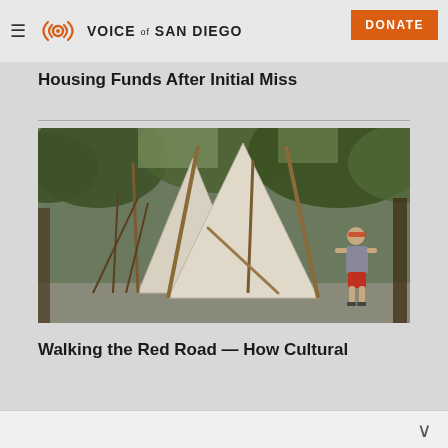Voice of San Diego — DONATE
Housing Funds After Initial Miss
[Figure (photo): Two white canvas tipis/teepees set up outdoors among trees, with a person in a grey shirt and red shorts standing near them on a paved path.]
Walking the Red Road — How Cultural